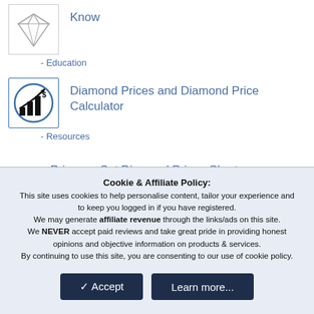[Figure (illustration): Diamond icon in a light gray outlined square border]
Know
- Education
[Figure (illustration): Bar chart with upward arrow and dollar sign in a circle, outlined with blue border]
Diamond Prices and Diamond Price Calculator
- Resources
Princess Cut Diamond Prices Chart
- Resources
What is a Princess cut diamond?
Educational Guide
Cookie & Affiliate Policy:
This site uses cookies to help personalise content, tailor your experience and to keep you logged in if you have registered.
We may generate affiliate revenue through the links/ads on this site.
We NEVER accept paid reviews and take great pride in providing honest opinions and objective information on products & services.
By continuing to use this site, you are consenting to our use of cookie policy.
Accept
Learn more...